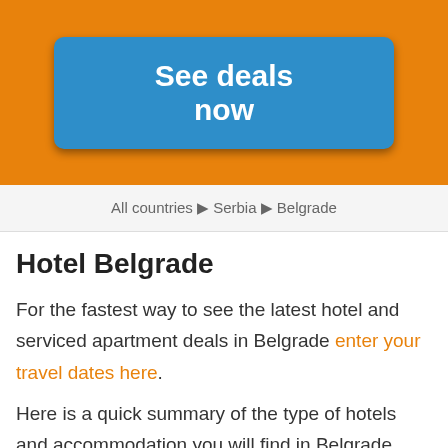[Figure (other): Orange header banner with a blue 'See deals now' button]
All countries ▶ Serbia ▶ Belgrade
Hotel Belgrade
For the fastest way to see the latest hotel and serviced apartment deals in Belgrade enter your travel dates here.
Here is a quick summary of the type of hotels and accommodation you will find in Belgrade. 787 are apartment style hotels great for a long stay in Belgrade. If you are looking at a longer stay you can book up to 29 nights and you might want to look at the 1220 hotels in Belgrade which have